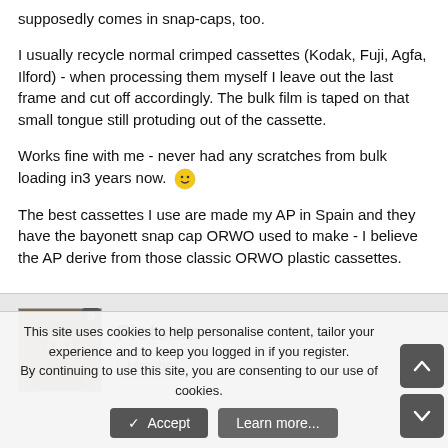supposedly comes in snap-caps, too.
I usually recycle normal crimped cassettes (Kodak, Fuji, Agfa, Ilford) - when processing them myself I leave out the last frame and cut off accordingly. The bulk film is taped on that small tongue still protuding out of the cassette.
Works fine with me - never had any scratches from bulk loading in3 years now. 🙂
The best cassettes I use are made my AP in Spain and they have the bayonett snap cap ORWO used to make - I believe the AP derive from those classic ORWO plastic cassettes.
Flotsam — Member
This site uses cookies to help personalise content, tailor your experience and to keep you logged in if you register.
By continuing to use this site, you are consenting to our use of cookies.